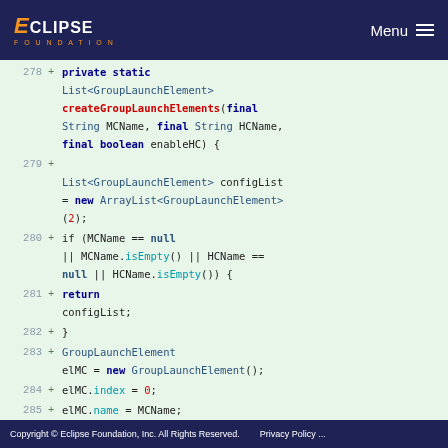ECLIPSE FOUNDATION  Menu
[Figure (screenshot): Code diff view showing lines 278-286 of Java source code. Eclipse Foundation website code review interface. Lines show createGroupLaunchElements method definition and body with ArrayList initialization and null checks.]
Copyright © Eclipse Foundation, Inc. All Rights Reserved.   Privacy Policy ...